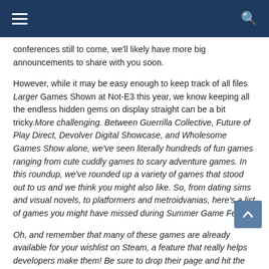Navigation bar with hamburger menu and search icon
conferences still to come, we'll likely have more big announcements to share with you soon.
However, while it may be easy enough to keep track of all files Larger Games Shown at Not-E3 this year, we know keeping all the endless hidden gems on display straight can be a bit tricky.More challenging. Between Guerrilla Collective, Future of Play Direct, Devolver Digital Showcase, and Wholesome Games Show alone, we've seen literally hundreds of fun games ranging from cute cuddly games to scary adventure games. In this roundup, we've rounded up a variety of games that stood out to us and we think you might also like. So, from dating sims and visual novels, to platformers and metroidvanias, here's a list of games you might have missed during Summer Game Fest.
Oh, and remember that many of these games are already available for your wishlist on Steam, a feature that really helps developers make them! Be sure to drop their page and hit the "Add to Wishlist" button if any of them pop up to you.